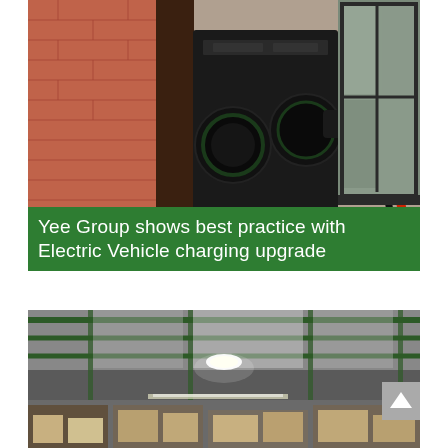[Figure (photo): Close-up photo of an electric vehicle charging unit mounted on a brick wall, showing two circular charge ports with a red and black cable plugged in. A window with dark frame is visible in the background.]
Yee Group shows best practice with Electric Vehicle charging upgrade
[Figure (photo): Interior photo of a large warehouse or industrial facility showing LED high bay lights installed on a steel-framed ceiling with green beams. Shelving units with stored goods/pallets are visible in the background.]